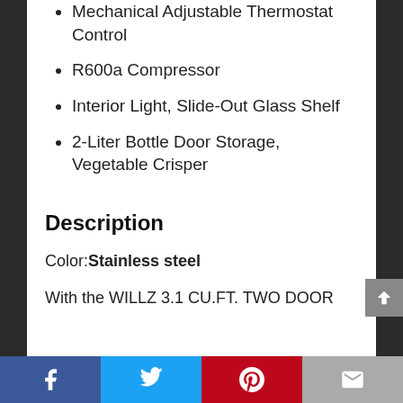Mechanical Adjustable Thermostat Control
R600a Compressor
Interior Light, Slide-Out Glass Shelf
2-Liter Bottle Door Storage, Vegetable Crisper
Description
Color: Stainless steel
With the WILLZ 3.1 CU.FT. TWO DOOR